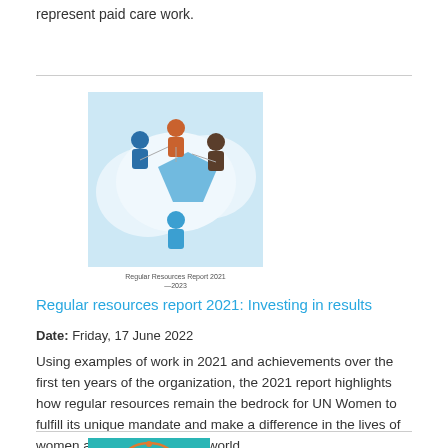represent paid care work.
[Figure (illustration): Cover of Regular Resources Report 2021: Investing in results — illustrated cover showing diverse people in blue and white cloud-like shapes against a light blue background]
Regular Resources Report 2021
—2023
Regular resources report 2021: Investing in results
Date: Friday, 17 June 2022
Using examples of work in 2021 and achievements over the first ten years of the organization, the 2021 report highlights how regular resources remain the bedrock for UN Women to fulfill its unique mandate and make a difference in the lives of women and men around the world.
[Figure (illustration): Cover thumbnail of a report with teal background and circular orange/brown design elements]